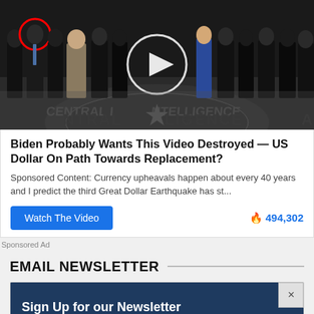[Figure (photo): A group of people standing in the CIA headquarters lobby, visible CIA seal/floor emblem with 'CENTRAL INTELLIGENCE' text. A red circle highlights one person on the left. A white play button overlay is in the center of the image.]
Biden Probably Wants This Video Destroyed — US Dollar On Path Towards Replacement?
Sponsored Content: Currency upheavals happen about every 40 years and I predict the third Great Dollar Earthquake has st...
Watch The Video   🔥 494,302
Sponsored Ad
EMAIL NEWSLETTER
Sign Up for our Newsletter